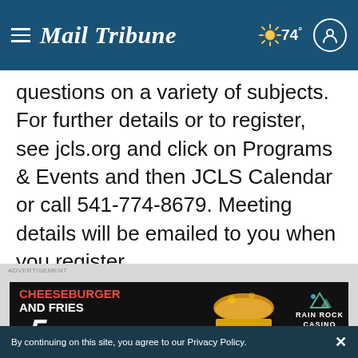Mail Tribune — 74°
questions on a variety of subjects. For further details or to register, see jcls.org and click on Programs & Events and then JCLS Calendar or call 541-774-8679. Meeting details will be emailed to you when you register.
[Figure (screenshot): Advertisement banner for Rain Rock Casino: Cheeseburger and Fries $5, served daily until 4PM, Check It Out Here!]
By continuing on this site, you agree to our Privacy Policy.